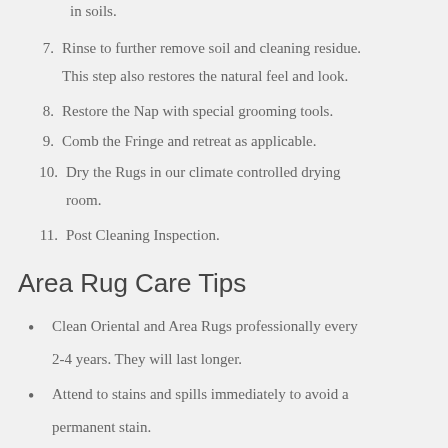in soils.
7. Rinse to further remove soil and cleaning residue. This step also restores the natural feel and look.
8. Restore the Nap with special grooming tools.
9. Comb the Fringe and retreat as applicable.
10. Dry the Rugs in our climate controlled drying room.
11. Post Cleaning Inspection.
Area Rug Care Tips
Clean Oriental and Area Rugs professionally every 2-4 years. They will last longer.
Attend to stains and spills immediately to avoid a permanent stain.